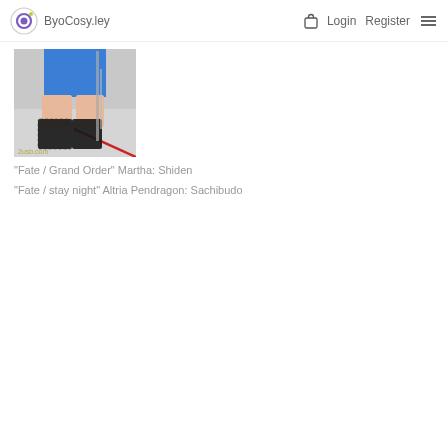ByoCosy.ley  Login  Register
[Figure (photo): Cropped photo showing a person's legs wearing black lace stockings and blue outfit, with a sports gym background and red line on the floor. Watermark: 2usb.com]
"Fate / Grand Order" Martha: Shiden
"Fate / stay night" Altria Pendragon: Sachibudo